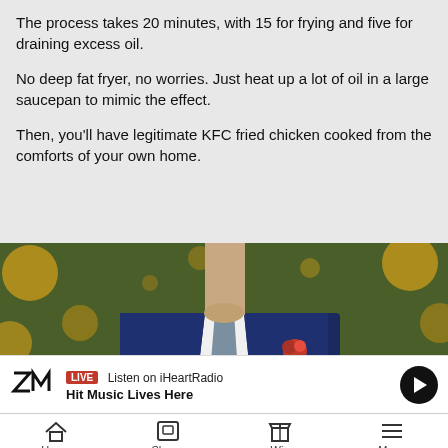The process takes 20 minutes, with 15 for frying and five for draining excess oil.
No deep fat fryer, no worries. Just heat up a lot of oil in a large saucepan to mimic the effect.
Then, you'll have legitimate KFC fried chicken cooked from the comforts of your own home.
[Figure (photo): Man in navy blue suit with a red rose boutonniere holding fried chicken, bokeh lights in background]
LIVE Listen on iHeartRadio
Hit Music Lives Here
Home | Shows | Win | Menu